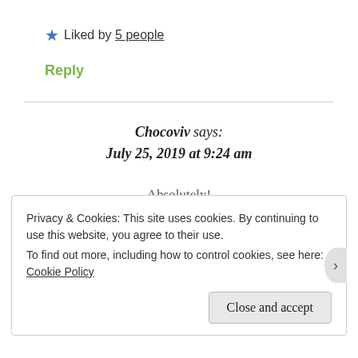★ Liked by 5 people
Reply
Chocoviv says: July 25, 2019 at 9:24 am
Absolutely!
Privacy & Cookies: This site uses cookies. By continuing to use this website, you agree to their use. To find out more, including how to control cookies, see here: Cookie Policy
Close and accept